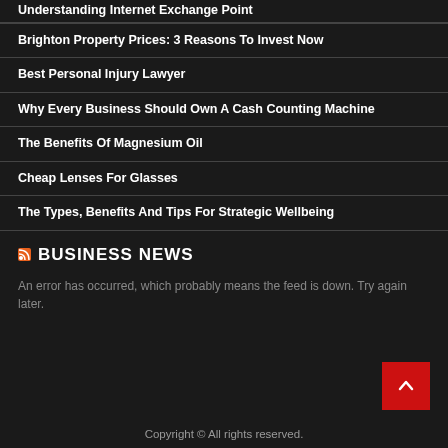Understanding Internet Exchange Point
Brighton Property Prices: 3 Reasons To Invest Now
Best Personal Injury Lawyer
Why Every Business Should Own A Cash Counting Machine
The Benefits Of Magnesium Oil
Cheap Lenses For Glasses
The Types, Benefits And Tips For Strategic Wellbeing
BUSINESS NEWS
An error has occurred, which probably means the feed is down. Try again later.
Copyright © All rights reserved.